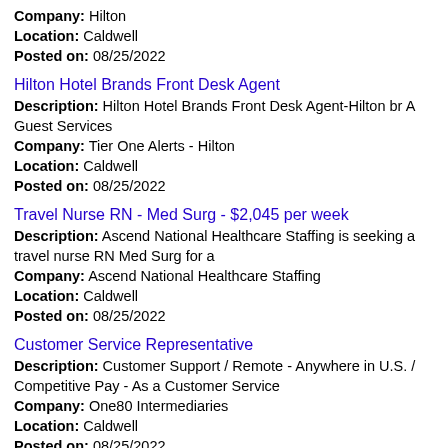Company: Hilton
Location: Caldwell
Posted on: 08/25/2022
Hilton Hotel Brands Front Desk Agent
Description: Hilton Hotel Brands Front Desk Agent-Hilton br A Guest Services
Company: Tier One Alerts - Hilton
Location: Caldwell
Posted on: 08/25/2022
Travel Nurse RN - Med Surg - $2,045 per week
Description: Ascend National Healthcare Staffing is seeking a travel nurse RN Med Surg for a
Company: Ascend National Healthcare Staffing
Location: Caldwell
Posted on: 08/25/2022
Customer Service Representative
Description: Customer Support / Remote - Anywhere in U.S. / Competitive Pay - As a Customer Service
Company: One80 Intermediaries
Location: Caldwell
Posted on: 08/25/2022